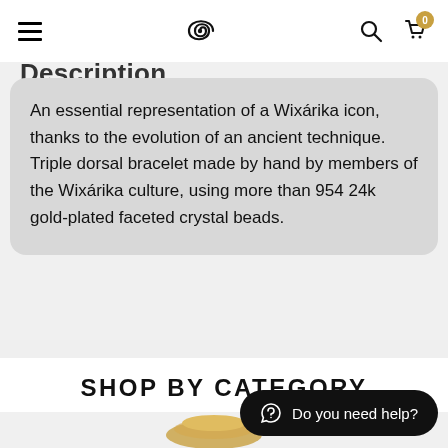Navigation bar with hamburger menu, spiral logo, search icon, and cart (0)
Description
An essential representation of a Wixárika icon, thanks to the evolution of an ancient technique. Triple dorsal bracelet made by hand by members of the Wixárika culture, using more than 954 24k gold-plated faceted crystal beads.
SHOP BY CATEGORY
Do you need help?